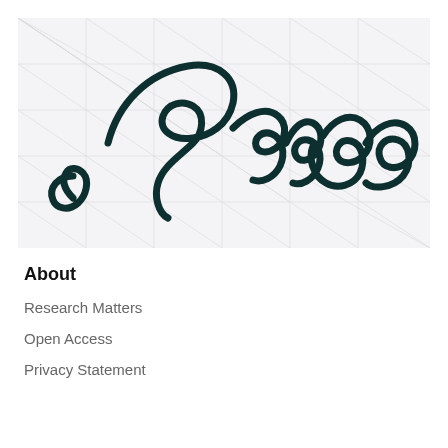[Figure (logo): Erasmus cursive logo/signature on a light grey grid-patterned background]
About
Research Matters
Open Access
Privacy Statement